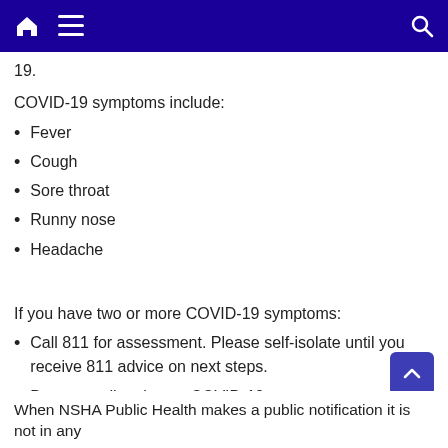Navigation bar with home, menu, and search icons
19.
COVID-19 symptoms include:
Fever
Cough
Sore throat
Runny nose
Headache
If you have two or more COVID-19 symptoms:
Call 811 for assessment. Please self-isolate until you receive 811 advice on next steps.
Do not go directly to a COVID-19 assessment centre without being directed to do so by 811.
When NSHA Public Health makes a public notification it is not in any